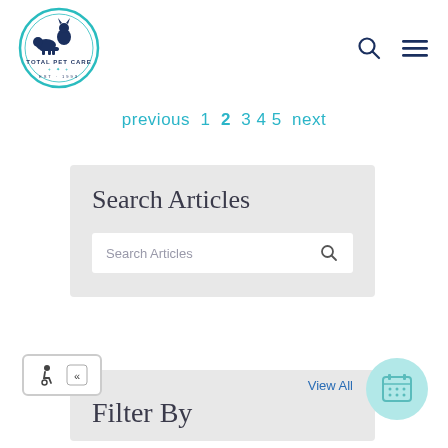[Figure (logo): Total Pet Care circular logo with cat and dog silhouette, teal border, dark navy text 'TOTAL PET CARE' and 'EST. 1993']
[Figure (other): Navigation icons: search (magnifying glass) and hamburger menu in dark navy]
previous 1 2 3 4 5 next
Search Articles
Search Articles
View All
Filter By
[Figure (other): Accessibility wheelchair icon and left double-arrow button]
[Figure (other): Teal circular calendar/grid icon button]